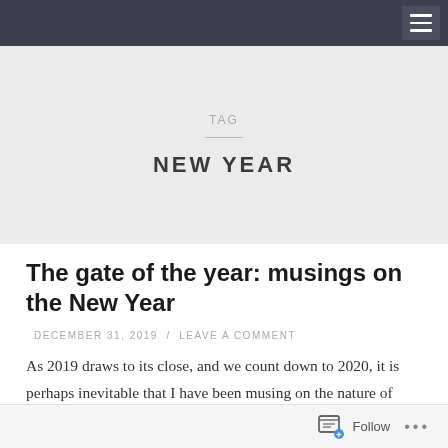TAG
NEW YEAR
The gate of the year: musings on the New Year
DECEMBER 31, 2019 / LEAVE A COMMENT
As 2019 draws to its close, and we count down to 2020, it is perhaps inevitable that I have been musing on the nature of change.  Time passes – some things stay the same, other things evolve.  Change is
Follow ...